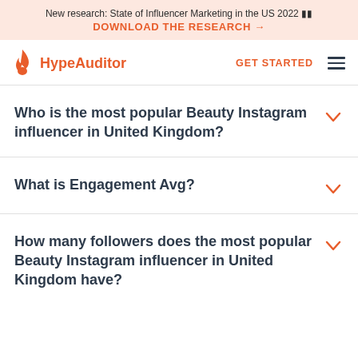New research: State of Influencer Marketing in the US 2022 🟥🟦 DOWNLOAD THE RESEARCH →
HypeAuditor GET STARTED ☰
Who is the most popular Beauty Instagram influencer in United Kingdom?
What is Engagement Avg?
How many followers does the most popular Beauty Instagram influencer in United Kingdom have?